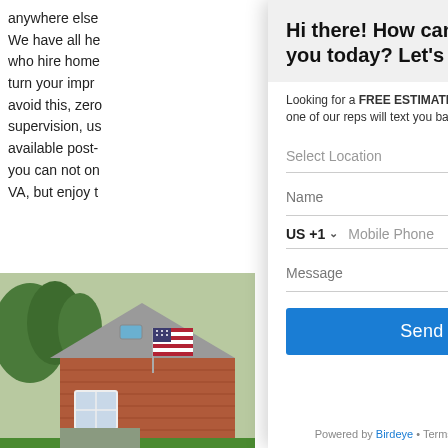anywhere else
We have all he
who hire home
turn your impr
avoid this, zer
supervision, u
available post-
you can not on
VA, but enjoy t
[Figure (photo): A house with a gray roof, brick exterior, white window, and an American flag, surrounded by greenery.]
Hi there! How can we help you today? Let's Chat!
Looking for a FREE ESTIMATE? Fill out below and one of our reps will text you back shortly!
Select Location
Name
US +1
Mobile Phone
Message
Send
Powered by Birdeye • Terms and Conditions